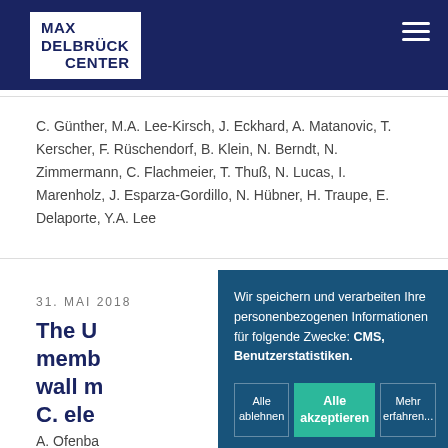[Figure (logo): Max Delbrück Center logo — white box with dark blue text on dark blue header background, with hamburger menu icon top right]
C. Günther, M.A. Lee-Kirsch, J. Eckhard, A. Matanovic, T. Kerscher, F. Rüschendorf, B. Klein, N. Berndt, N. Zimmermann, C. Flachmeier, T. Thuß, N. Lucas, I. Marenholz, J. Esparza-Gordillo, N. Hübner, H. Traupe, E. Delaporte, Y.A. Lee
31. MAI 2018
The U… memb… wall m… C. ele…
A. Ofenba…
Wir speichern und verarbeiten Ihre personenbezogenen Informationen für folgende Zwecke: CMS, Benutzerstatistiken.
Alle ablehnen
Alle akzeptieren
Mehr erfahren...